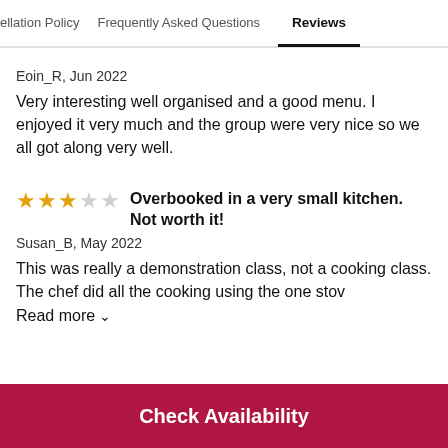ellation Policy   Frequently Asked Questions   Reviews
Eoin_R, Jun 2022
Very interesting well organised and a good menu. I enjoyed it very much and the group were very nice so we all got along very well.
Overbooked in a very small kitchen. Not worth it!
Susan_B, May 2022
This was really a demonstration class, not a cooking class. The chef did all the cooking using the one stov
Read more
Check Availability